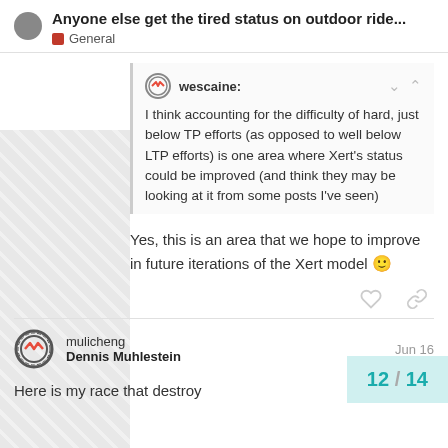Anyone else get the tired status on outdoor ride…
General
wescaine:
I think accounting for the difficulty of hard, just below TP efforts (as opposed to well below LTP efforts) is one area where Xert's status could be improved (and think they may be looking at it from some posts I've seen)
Yes, this is an area that we hope to improve in future iterations of the Xert model 🙂
mulicheng
Dennis Muhlestein
Jun 16
Here is my race that destroy
12 / 14